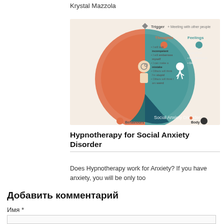Krystal Mazzola
[Figure (infographic): Social Anxiety Disorder infographic showing a circle divided into sections: Trigger (Meeting with other people), Thoughts (orange section listing: I will look incompetent, I will embarrass myself, I can make a mistake, Others will think I'm stupid, Others will think I am weird), Feelings (teal section listing: Anxiety, Low Mood, Worthlessness, Dread), Behaviours (partially visible at bottom), Body (partially visible at bottom). Center shows illustrated figure with gears in head and another running figure.]
Hypnotherapy for Social Anxiety Disorder
Does Hypnotherapy work for Anxiety? If you have anxiety, you will be only too
Добавить комментарий
Имя *